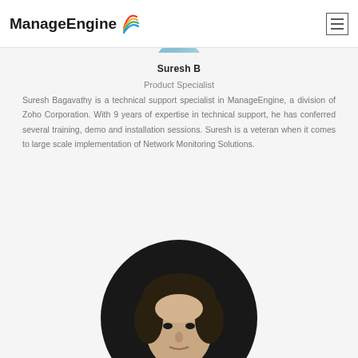ManageEngine
[Figure (photo): Partial circular profile photo at top of page, cropped]
Suresh B
Product Specialist
Suresh Bagavathy is a technical support specialist in ManageEngine, a division of Zoho Corporation. With 9 years of expertise in technical support, he has conferred several training, demo and installation sessions. Suresh is a veteran when it comes to large scale implementation of Network Monitoring Solutions.
[Figure (photo): Circular profile photo of a person with dark hair, partially visible from the bottom of the page]